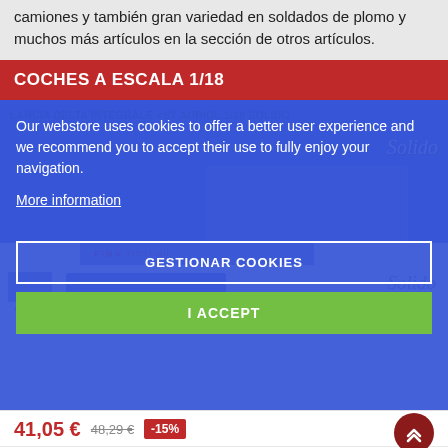camiones y también gran variedad en soldados de plomo y muchos más artículos en la sección de otros artículos.
COCHES A ESCALA 1/18
[Figure (screenshot): Cookie consent overlay on a blue background over a product page showing a Lancia Delta Integrale 1/18 Solido model car. The overlay contains text about cookies, a 'More information' link, a 'GESTIONAR COOKIES' button, and an 'I ACCEPT' green button.]
41,05 € 48,29 € -15%
COMPRAR + i